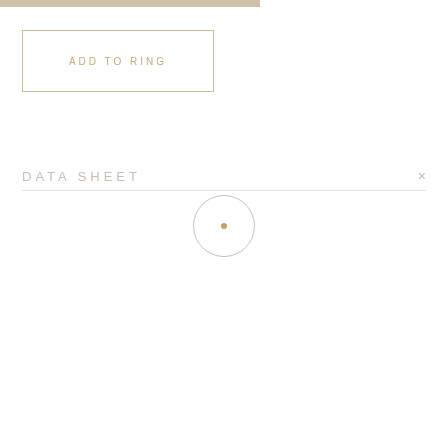ADD TO RING
DATA SHEET
[Figure (illustration): Small circle icon representing a diamond with a gold/amber dot in the center]
| Property | Value |
| --- | --- |
| Carat | 0.56 |
| Shape | Round |
| Color | K |
| Clarity | VS2 |
| Polish | EXCELLENT |